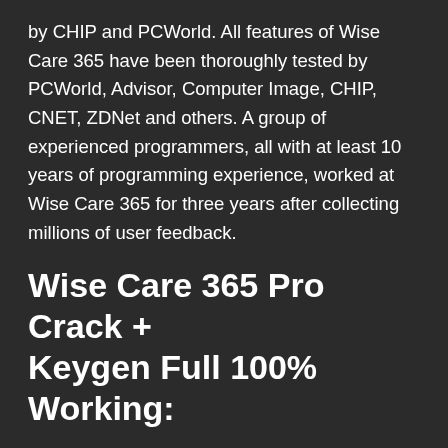by CHIP and PCWorld. All features of Wise Care 365 have been thoroughly tested by PCWorld, Advisor, Computer Image, CHIP, CNET, ZDNet and others. A group of experienced programmers, all with at least 10 years of programming experience, worked at Wise Care 365 for three years after collecting millions of user feedback.
Wise Care 365 Pro Crack + Keygen Full 100% Working:
Insightful Consideration 365 Professional Permit key gives the best answer for further developing PC execution. It ensures agreeable use and enjoys the benefits of complete capacities, reasonableness, and economy. With its assistance, your PC won't ever run gradually again. It comprises five sections: PC investigation, framework